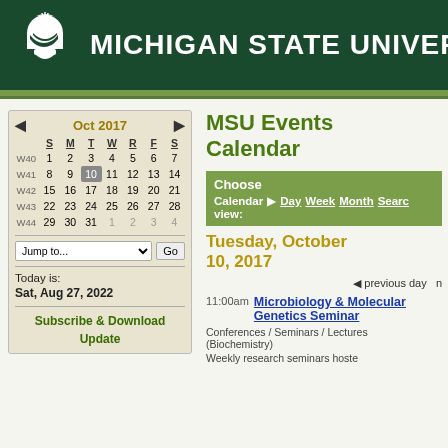[Figure (logo): Michigan State University header with Spartan helmet logo and university name on dark green background]
MSU Events Calendar
[Figure (screenshot): October 2017 calendar widget showing week numbers W40-W44, with October 10 highlighted as today]
Today is: Sat, Aug 27, 2022
Subscribe & Download Update
Choose Calendar ▶ Day Week Month Search view:
Tuesday, October 10, 2017
◀ previous day  n
11:00am  Microbiology & Molecular Genetics Seminar
Conferences / Seminars / Lectures (Biochemistry)
Weekly research seminars hoste